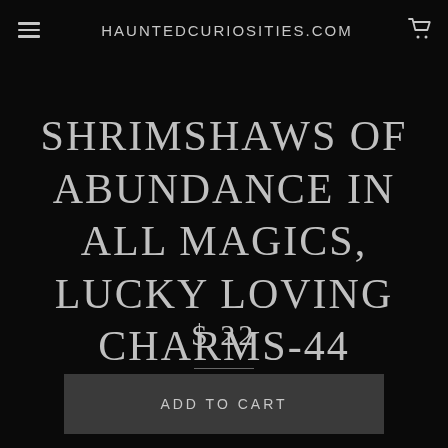HAUNTEDCURIOSITIES.COM
SHRIMSHAWS OF ABUNDANCE IN ALL MAGICS, LUCKY LOVING CHARMS-44
$ 22
ADD TO CART